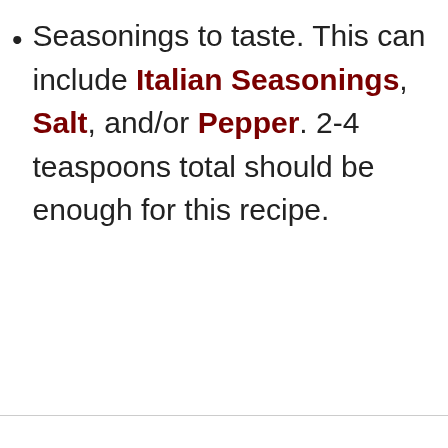Seasonings to taste. This can include Italian Seasonings, Salt, and/or Pepper. 2-4 teaspoons total should be enough for this recipe.